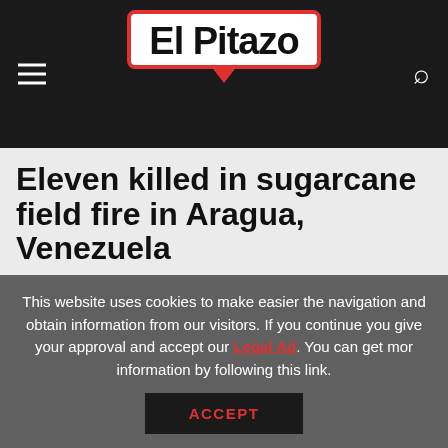El Pitazo
Eleven killed in sugarcane field fire in Aragua, Venezuela
The majority of the victims are male minors, including a 14-years old baseball boy wonder. Initial reports that had the victims hunting rabbits and other small games while also trying to obtain sugarcane when the fire broke out were confirmed by the Maduro regime.
This website uses cookies to make easier the navigation and obtain information from our visitors. If you continue you give your approval and accept our Legal Ad. You can get mor information by following this link.
ACCEPT